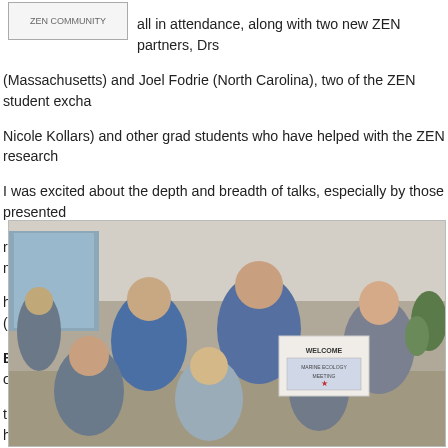all in attendance, along with two new ZEN partners, Drs (Massachusetts) and Joel Fodrie (North Carolina), two of the ZEN student exchange Nicole Kollars) and other grad students who have helped with the ZEN research I was excited about the depth and breadth of talks, especially by those presented ranged from experiments on the role of functional diversity and salt marsh mutua hear and the effects of seagrass habitat fragmentation on epifauna. (See a full lis BEM website) Additionally, our short music video "GRAZER" was one of 14 films the Waves Film Festival screening at the conference. I'll post the film here shortly
[Figure (photo): Group photo of researchers at a conference, showing multiple people smiling, with a WELCOME banner visible in the background, taken in what appears to be a hotel or conference center lobby.]